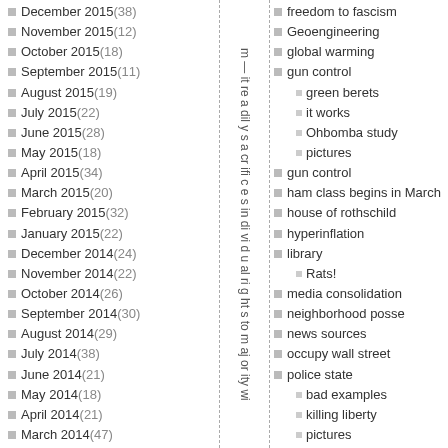December 2015 (38)
November 2015 (12)
October 2015 (18)
September 2015 (11)
August 2015 (19)
July 2015 (22)
June 2015 (28)
May 2015 (18)
April 2015 (34)
March 2015 (20)
February 2015 (32)
January 2015 (22)
December 2014 (24)
November 2014 (22)
October 2014 (26)
September 2014 (30)
August 2014 (29)
July 2014 (38)
June 2014 (21)
May 2014 (18)
April 2014 (21)
March 2014 (47)
February 2014 (44)
January 2014 (41)
December 2013 (62)
November 2013 (53)
m — it re a dil y s a cr ifi c e s in di vi d u al ri g ht s to m aj or ity wi
flag of liberty
freedom to fascism
Geoengineering
global warming
gun control
green berets
it works
Ohbomba study
pictures
gun control
ham class begins in March
house of rothschild
hyperinflation
library
Rats!
media consolidation
neighborhood posse
news sources
occupy wall street
police state
bad examples
killing liberty
pictures
PREPAREDNESS
2-way radio
get home bag
group organization